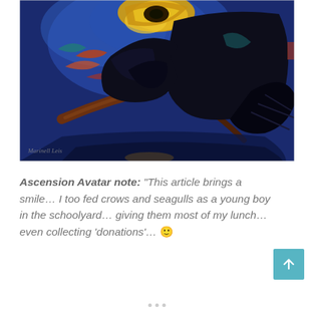[Figure (illustration): A dark expressionist-style oil painting of a crow or raven perched on a branch. The bird is painted in deep blacks and dark blues against a vibrant blue background with swirling yellow, orange, and teal brushstrokes suggesting a dramatic sky or moon. A signature is visible in the lower left corner.]
Ascension Avatar note: “This article brings a smile… I too fed crows and seagulls as a young boy in the schoolyard… giving them most of my lunch… even collecting ‘donations’… 🙂